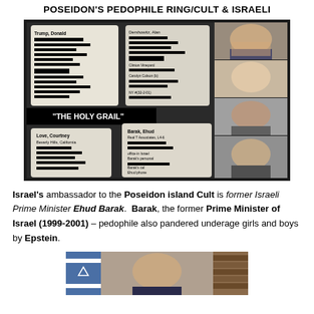POSEIDON'S PEDOPHILE RING/CULT & ISRAELI
[Figure (photo): Composite image showing redacted address book pages labeled 'THE HOLY GRAIL' with entries including Trump Donald, Love Courtney, Barak Ehud, alongside photographs of four individuals on the right side including a man in a suit, a blonde woman, an older man, and another man with glasses.]
Israel's ambassador to the Poseidon island Cult is former Israeli Prime Minister Ehud Barak. Barak, the former Prime Minister of Israel (1999-2001) – pedophile also pandered underage girls and boys by Epstein.
[Figure (photo): Partial photo at bottom of page showing a man in a suit with an Israeli flag visible on the left and bookshelves in the background.]